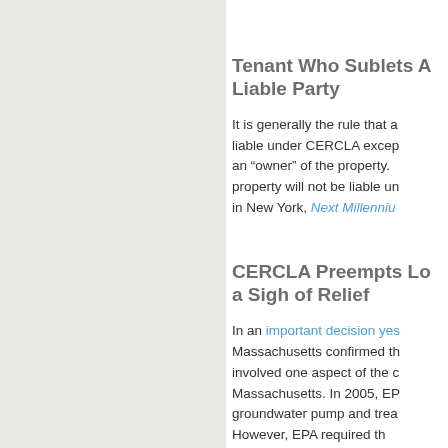Tenant Who Sublets A Liable Party
It is generally the rule that a liable under CERCLA except an “owner” of the property. property will not be liable un in New York, Next Millenniu
CERCLA Preempts Lo a Sigh of Relief
In an important decision yes Massachusetts confirmed th involved one aspect of the c Massachusetts. In 2005, EP groundwater pump and trea However, EPA required th